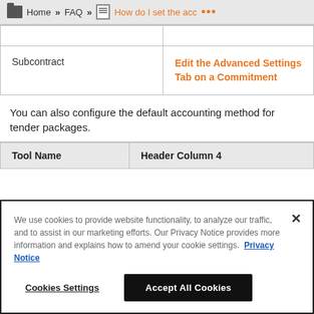Home » FAQ » How do I set the acc ...
|  |  |
| --- | --- |
| Subcontract | Edit the Advanced Settings Tab on a Commitment |
You can also configure the default accounting method for tender packages.
| Tool Name | Header Column 4 |
| --- | --- |
We use cookies to provide website functionality, to analyze our traffic, and to assist in our marketing efforts. Our Privacy Notice provides more information and explains how to amend your cookie settings. Privacy Notice
Cookies Settings    Accept All Cookies